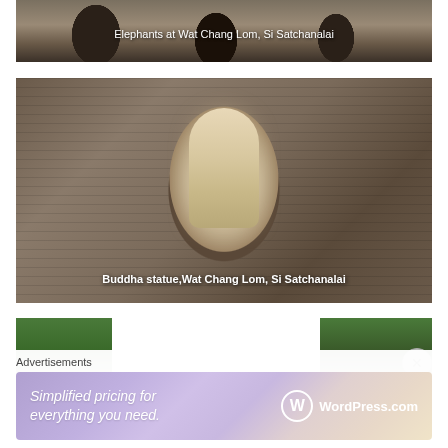[Figure (photo): Photo of elephant statues at Wat Chang Lom temple ruins, Si Satchanalai, Thailand. Stone columns and elephant sculptures visible.]
Elephants at Wat Chang Lom, Si Satchanalai
[Figure (photo): Photo of a white Buddha statue seated in meditation pose within a stone arch niche at Wat Chang Lom, Si Satchanalai, Thailand. Surrounding stonework is ancient brick.]
Buddha statue,Wat Chang Lom, Si Satchanalai
[Figure (photo): Partial view of another temple photo at bottom of page, showing trees and temple structures.]
Advertisements
[Figure (screenshot): WordPress.com advertisement banner: 'Simplified pricing for everything you need.' with WordPress.com logo.]